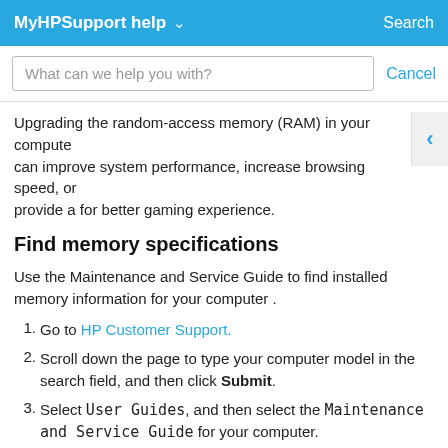MyHPSupport help ∨   Search
[Figure (screenshot): Search input field with placeholder text 'What can we help you with?' and a Cancel button]
Upgrading the random-access memory (RAM) in your computer can improve system performance, increase browsing speed, or provide a for better gaming experience.
Find memory specifications
Use the Maintenance and Service Guide to find installed memory information for your computer .
Go to HP Customer Support.
Scroll down the page to type your computer model in the search field, and then click Submit.
Select User Guides, and then select the Maintenance and Service Guide for your computer. If the Maintenance and Service Guide is not listed, select the specifications document for your computer.